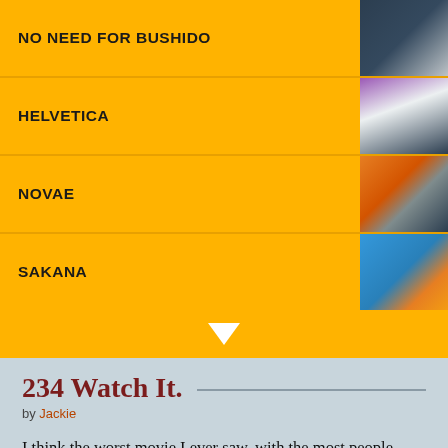NO NEED FOR BUSHIDO
HELVETICA
NOVAE
SAKANA
234 Watch It.
by Jackie
I think the worst movie I ever saw, with the most people, was Soul Plane.  It was so bad that it called attention to the fact that the people who were making it knew how bad it was.  We couldn't even make fun of it properly, because the filmakers kept getting there first.  It was kind of like they were just giving us the finger and saying "Yeah, we made this piece of shit, but